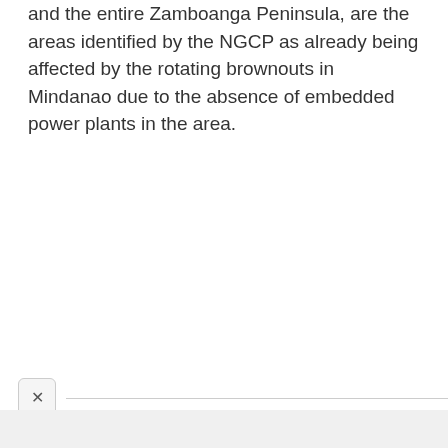and the entire Zamboanga Peninsula, are the areas identified by the NGCP as already being affected by the rotating brownouts in Mindanao due to the absence of embedded power plants in the area.